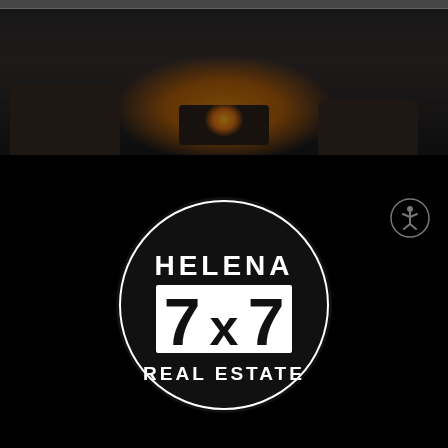[Figure (photo): Outdoor rooftop lounge at night with fire pit and seating, dark moody lighting]
[Figure (logo): Helena 7x7 Real Estate logo — white circle outline on black background with bold white text reading HELENA above large 7x7 and REAL ESTATE below]